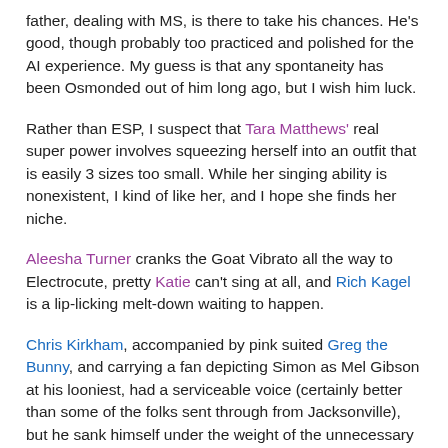father, dealing with MS, is there to take his chances. He's good, though probably too practiced and polished for the AI experience. My guess is that any spontaneity has been Osmonded out of him long ago, but I wish him luck.
Rather than ESP, I suspect that Tara Matthews' real super power involves squeezing herself into an outfit that is easily 3 sizes too small. While her singing ability is nonexistent, I kind of like her, and I hope she finds her niche.
Aleesha Turner cranks the Goat Vibrato all the way to Electrocute, pretty Katie can't sing at all, and Rich Kagel is a lip-licking melt-down waiting to happen.
Chris Kirkham, accompanied by pink suited Greg the Bunny, and carrying a fan depicting Simon as Mel Gibson at his looniest, had a serviceable voice (certainly better than some of the folks sent through from Jacksonville), but he sank himself under the weight of the unnecessary gimmicks.
Utah certainly produced polite rejectees. I'll give them that.